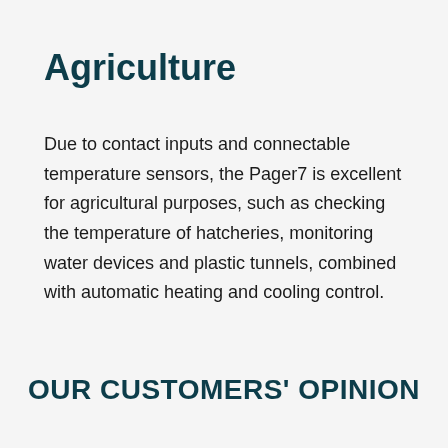Agriculture
Due to contact inputs and connectable temperature sensors, the Pager7 is excellent for agricultural purposes, such as checking the temperature of hatcheries, monitoring water devices and plastic tunnels, combined with automatic heating and cooling control.
OUR CUSTOMERS' OPINION